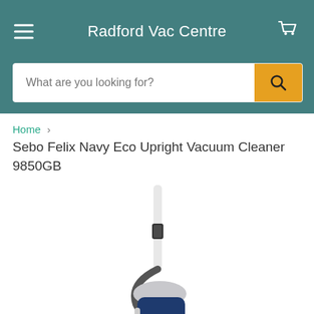Radford Vac Centre
What are you looking for?
Home > Sebo Felix Navy Eco Upright Vacuum Cleaner 9850GB
Sebo Felix Navy Eco Upright Vacuum Cleaner 9850GB
[Figure (photo): Sebo Felix Navy Eco Upright Vacuum Cleaner 9850GB product photo showing upper portion of the vacuum with white handle and navy blue body]